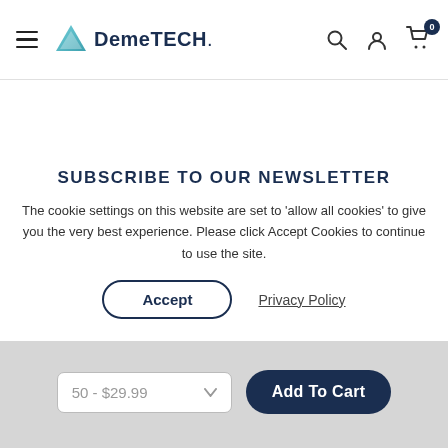DemeTECH. [navigation with hamburger menu, logo, search, account, cart icons]
SUBSCRIBE TO OUR NEWSLETTER
The cookie settings on this website are set to 'allow all cookies' to give you the very best experience. Please click Accept Cookies to continue to use the site.
Accept | Privacy Policy
50 - $29.99   Add To Cart